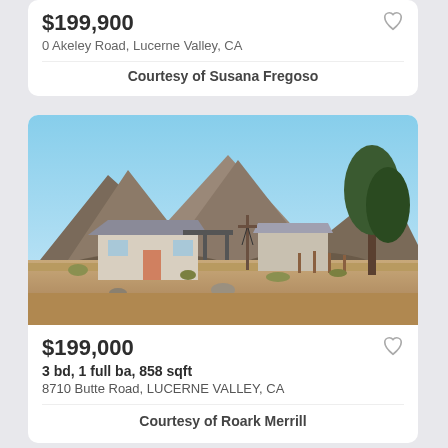$199,900
0 Akeley Road, Lucerne Valley, CA
Courtesy of Susana Fregoso
[Figure (photo): Exterior photo of a small house in a desert setting with rocky mountains in the background and sparse desert vegetation. Blue sky visible. Property at 8710 Butte Road, Lucerne Valley, CA.]
$199,000
3 bd, 1 full ba, 858 sqft
8710 Butte Road, LUCERNE VALLEY, CA
Courtesy of Roark Merrill